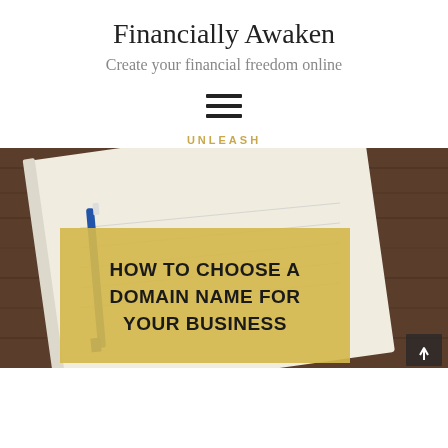Financially Awaken
Create your financial freedom online
[Figure (other): Hamburger menu icon (three horizontal lines)]
UNLEASH
[Figure (photo): Featured article banner image showing a notebook with a pen on a wooden surface, overlaid with a yellow/gold semi-transparent box containing the article title text: HOW TO CHOOSE A DOMAIN NAME FOR YOUR BUSINESS]